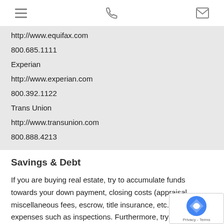[hamburger menu icon] [phone icon] [email icon]
http://www.equifax.com
800.685.1111
Experian
http://www.experian.com
800.392.1122
Trans Union
http://www.transunion.com
800.888.4213
Savings & Debt
If you are buying real estate, try to accumulate funds towards your down payment, closing costs (appraisal, miscellaneous fees, escrow, title insurance, etc.) an expenses such as inspections. Furthermore, try to p down existing revolving and high interest rate debt like